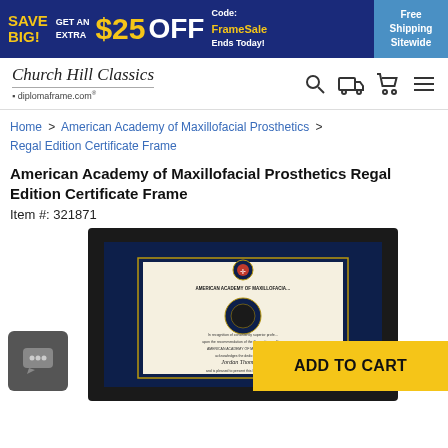[Figure (infographic): Dark blue promotional banner: SAVE BIG! GET AN EXTRA $25 OFF Code: FrameSale Ends Today! Free Shipping Sitewide]
[Figure (logo): Church Hill Classics / diplomaframe.com logo with navigation icons (search, truck, cart, menu)]
Home > American Academy of Maxillofacial Prosthetics > Regal Edition Certificate Frame
American Academy of Maxillofacial Prosthetics Regal Edition Certificate Frame
Item #: 321871
[Figure (photo): Regal Edition Certificate Frame with navy blue mat and black frame, displaying an American Academy of Maxillofacial Prosthetics certificate for Jordan Thompson]
[Figure (infographic): ADD TO CART button in yellow/gold color]